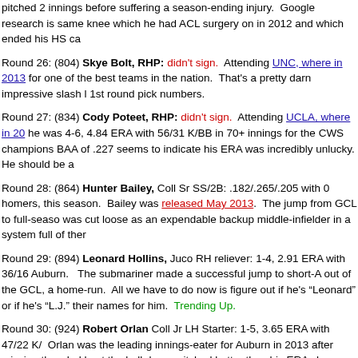pitched 2 innings before suffering a season-ending injury.  Google research is same knee which he had ACL surgery on in 2012 and which ended his HS ca
Round 26: (804) Skye Bolt, RHP: didn't sign.  Attending UNC, where in 2013 for one of the best teams in the nation.  That's a pretty darn impressive slash l 1st round pick numbers.
Round 27: (834) Cody Poteet, RHP: didn't sign.  Attending UCLA, where in 20 he was 4-6, 4.84 ERA with 56/31 K/BB in 70+ innings for the CWS champions BAA of .227 seems to indicate his ERA was incredibly unlucky.  He should be a
Round 28: (864) Hunter Bailey, Coll Sr SS/2B: .182/.265/.205 with 0 homers, this season.  Bailey was released May 2013.  The jump from GCL to full-seaso was cut loose as an expendable backup middle-infielder in a system full of ther
Round 29: (894) Leonard Hollins, Juco RH reliever: 1-4, 2.91 ERA with 36/16 Auburn.   The submariner made a successful jump to short-A out of the GCL, a home-run.  All we have to do now is figure out if he's "Leonard" or if he's "L.J." their names for him.  Trending Up.
Round 30: (924) Robert Orlan Coll Jr LH Starter: 1-5, 3.65 ERA with 47/22 K/ Orlan was the leading innings-eater for Auburn in 2013 after missing the whol kept the ball down, pitched better than his ERA shows (3.38 fip) and shows no compete for rotation jobs in full season ball next year.  As I said last year, he c
Round 31: (954) Michael Boyden Coll Sr RH reliever: 0-0, 4.61 ERA with 15/1